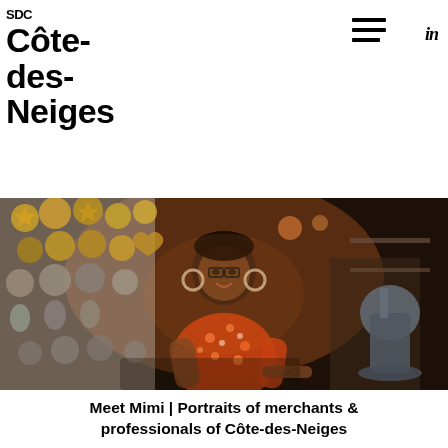SDC Côte-des-Neiges
[Figure (photo): A smiling woman wearing glasses and an orange floral blouse stands in a bakery/kitchen setting. Behind her on the left wall are many decorative golden and silver metal molds in various shapes (flowers, hearts, pineapples). On the right is professional kitchen equipment including a stand mixer.]
Meet Mimi | Portraits of merchants & professionals of Côte-des-Neiges